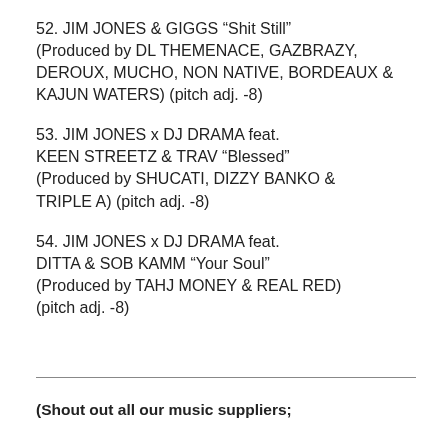52. JIM JONES & GIGGS “Shit Still” (Produced by DL THEMENACE, GAZBRAZY, DEROUX, MUCHO, NON NATIVE, BORDEAUX & KAJUN WATERS) (pitch adj. -8)
53. JIM JONES x DJ DRAMA feat. KEEN STREETZ & TRAV “Blessed” (Produced by SHUCATI, DIZZY BANKO & TRIPLE A) (pitch adj. -8)
54. JIM JONES x DJ DRAMA feat. DITTA & SOB KAMM “Your Soul” (Produced by TAHJ MONEY & REAL RED) (pitch adj. -8)
(Shout out all our music suppliers;